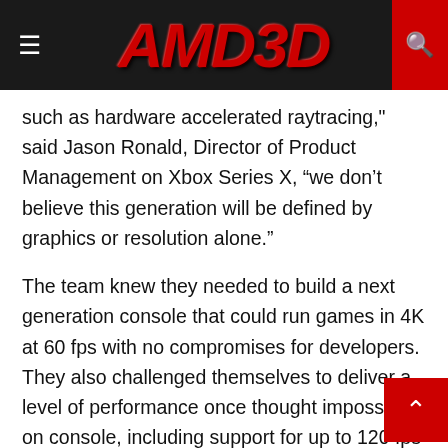AMD3D
such as hardware accelerated raytracing," said Jason Ronald, Director of Product Management on Xbox Series X, "we don’t believe this generation will be defined by graphics or resolution alone."
The team knew they needed to build a next generation console that could run games in 4K at 60 fps with no compromises for developers. They also challenged themselves to deliver a level of performance once thought impossible on console, including support for up to 120 fps for the most demanding and competitive games. While they believe resolution and frame rate are creative decisions best left in the hands of title developers, the team wanted to ensure the system was able to support the needs of the largest blockbusters,